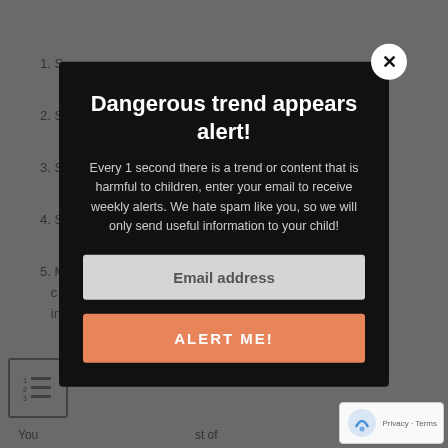1. S...
2. S...
3. S...
4. S...
5. M... positive c... see in...
You... st of peop... st of mute...
Dangerous trend appears alert!
Every 1 second there is a trend or content that is harmful to children, enter your email to receive weekly alerts. We hate spam like you, so we will only send useful information to your child!
Email address
ALERT ME!